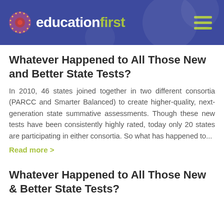education first
Whatever Happened to All Those New and Better State Tests?
In 2010, 46 states joined together in two different consortia (PARCC and Smarter Balanced) to create higher-quality, next-generation state summative assessments. Though these new tests have been consistently highly rated, today only 20 states are participating in either consortia. So what has happened to...
Read more >
Whatever Happened to All Those New & Better State Tests?